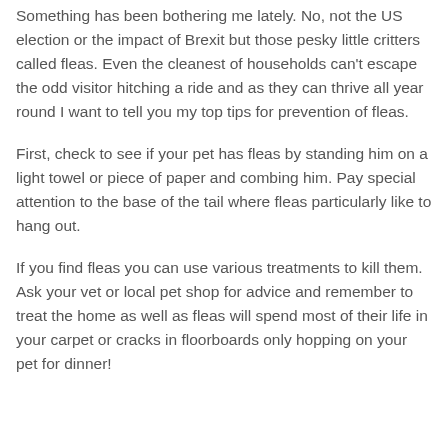Something has been bothering me lately. No, not the US election or the impact of Brexit but those pesky little critters called fleas. Even the cleanest of households can't escape the odd visitor hitching a ride and as they can thrive all year round I want to tell you my top tips for prevention of fleas.
First, check to see if your pet has fleas by standing him on a light towel or piece of paper and combing him. Pay special attention to the base of the tail where fleas particularly like to hang out.
If you find fleas you can use various treatments to kill them. Ask your vet or local pet shop for advice and remember to treat the home as well as fleas will spend most of their life in your carpet or cracks in floorboards only hopping on your pet for dinner!